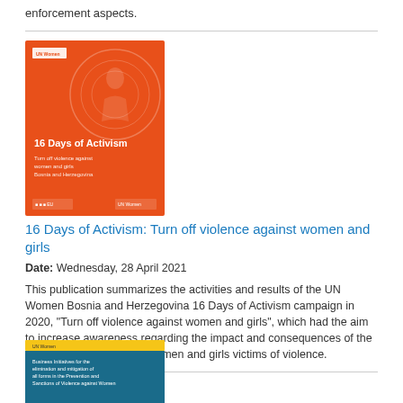enforcement aspects.
[Figure (illustration): Orange book cover for '16 Days of Activism: Turn off violence against women and girls' UN Women Bosnia and Herzegovina publication, with decorative circular design and logos at bottom.]
16 Days of Activism: Turn off violence against women and girls
Date: Wednesday, 28 April 2021
This publication summarizes the activities and results of the UN Women Bosnia and Herzegovina 16 Days of Activism campaign in 2020, "Turn off violence against women and girls", which had the aim to increase awareness regarding the impact and consequences of the COVID-19 pandemic on women and girls victims of violence.
[Figure (illustration): Partially visible book cover with yellow top bar and teal/blue main section, text about Business Initiatives for the elimination and mitigation of all forms in the Prevention and Sanctions of Violence against Women.]